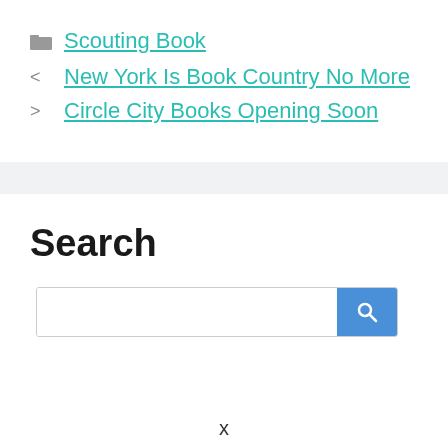Scouting Book
New York Is Book Country No More
Circle City Books Opening Soon
Search
[Figure (screenshot): Search box with text input field and blue search button with magnifying glass icon]